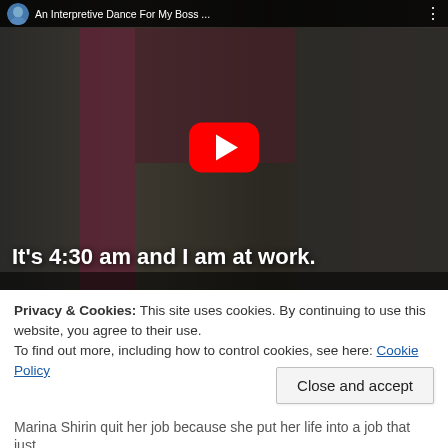[Figure (screenshot): YouTube video thumbnail showing a woman in a green blazer standing in what appears to be a recording studio. The video title bar reads 'An Interpretive Dance For My Boss ...' with a channel icon. A red YouTube play button is centered on the image. White text at the bottom of the video frame reads 'It's 4:30 am and I am at work.']
Privacy & Cookies: This site uses cookies. By continuing to use this website, you agree to their use.
To find out more, including how to control cookies, see here: Cookie Policy
Close and accept
Marina Shirin quit her job because she put her life into a job that just